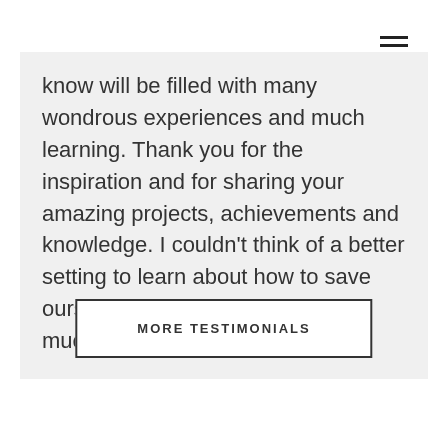know will be filled with many wondrous experiences and much learning. Thank you for the inspiration and for sharing your amazing projects, achievements and knowledge. I couldn't think of a better setting to learn about how to save ourselves, the world and have so much fun doing it!
MORE TESTIMONIALS